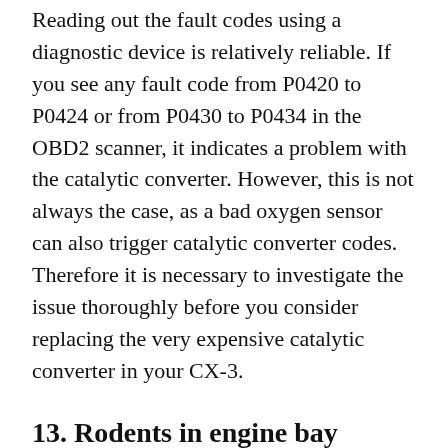Reading out the fault codes using a diagnostic device is relatively reliable. If you see any fault code from P0420 to P0424 or from P0430 to P0434 in the OBD2 scanner, it indicates a problem with the catalytic converter. However, this is not always the case, as a bad oxygen sensor can also trigger catalytic converter codes. Therefore it is necessary to investigate the issue thoroughly before you consider replacing the very expensive catalytic converter in your CX-3.
13. Rodents in engine bay
If your CX-3 smells like burnt barbecue and you haven't been grilling chicken in your vehicle, then there is probably a rodent